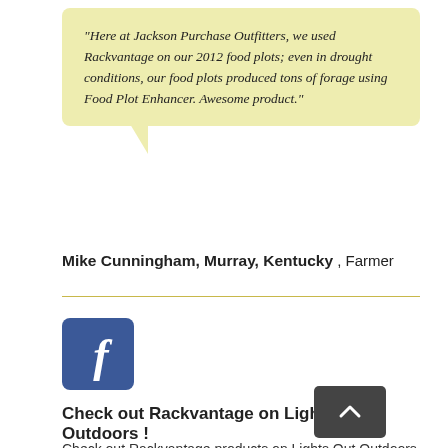“Here at Jackson Purchase Outfitters, we used Rackvantage on our 2012 food plots; even in drought conditions, our food plots produced tons of forage using Food Plot Enhancer. Awesome product.”
Mike Cunningham, Murray, Kentucky , Farmer
[Figure (logo): Facebook logo icon - blue square with white lowercase f]
Check out Rackvantage on Lights Out Outdoors !
Check out Rackvantage products on Lights Out Outdoors television show.  The show provides an outdoor experience that is not only entertaining, but also relatable to the hunting audience. Through their stories, Lights Out Outdoors wants to educate others, promote our sport and hope to provide a positive influence for our community and industry. They strive to get the youth involved and encourage everyone to